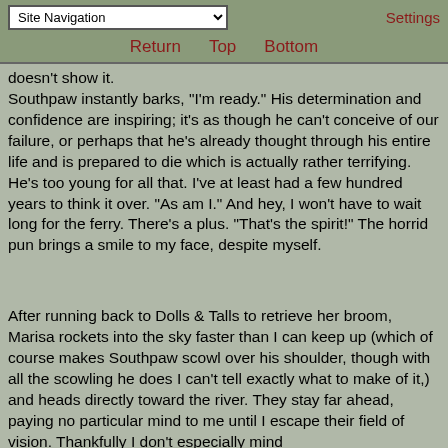Site Navigation | Settings | Return | Top | Bottom
doesn't show it.
Southpaw instantly barks, "I'm ready." His determination and confidence are inspiring; it's as though he can't conceive of our failure, or perhaps that he's already thought through his entire life and is prepared to die which is actually rather terrifying. He's too young for all that. I've at least had a few hundred years to think it over. "As am I." And hey, I won't have to wait long for the ferry. There's a plus. "That's the spirit!" The horrid pun brings a smile to my face, despite myself.
After running back to Dolls & Talls to retrieve her broom, Marisa rockets into the sky faster than I can keep up (which of course makes Southpaw scowl over his shoulder, though with all the scowling he does I can't tell exactly what to make of it,) and heads directly toward the river. They stay far ahead, paying no particular mind to me until I escape their field of vision. Thankfully I don't especially mind